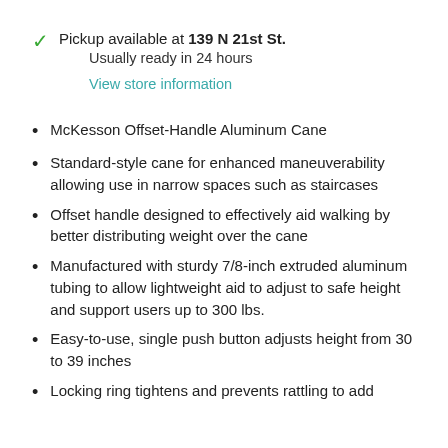Pickup available at 139 N 21st St.
Usually ready in 24 hours
View store information
McKesson Offset-Handle Aluminum Cane
Standard-style cane for enhanced maneuverability allowing use in narrow spaces such as staircases
Offset handle designed to effectively aid walking by better distributing weight over the cane
Manufactured with sturdy 7/8-inch extruded aluminum tubing to allow lightweight aid to adjust to safe height and support users up to 300 lbs.
Easy-to-use, single push button adjusts height from 30 to 39 inches
Locking ring tightens and prevents rattling to add